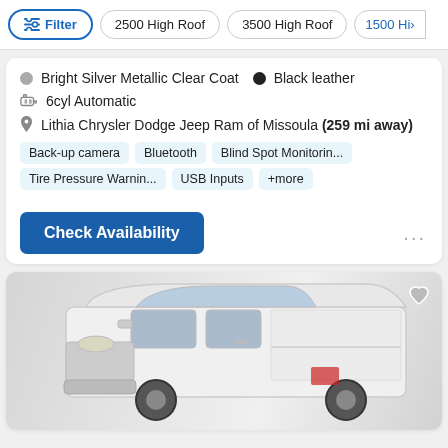Filter | 2500 High Roof | 3500 High Roof | 1500 Hi>
Bright Silver Metallic Clear Coat  •  Black leather
6cyl Automatic
Lithia Chrysler Dodge Jeep Ram of Missoula (259 mi away)
Back-up camera
Bluetooth
Blind Spot Monitorin...
Tire Pressure Warnin...
USB Inputs
+more
Check Availability
[Figure (photo): White cargo van (Ram ProMaster) front 3/4 view]